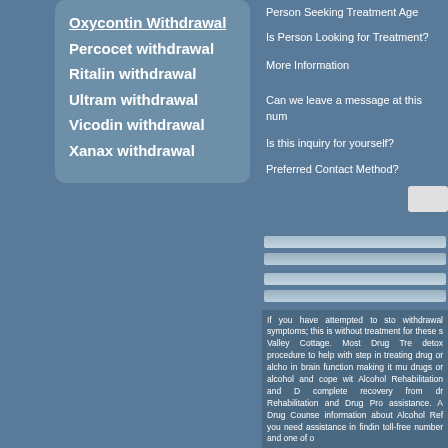Oxycontin Withdrawal
Percocet withdrawal
Ritalin withdrawal
Ultram withdrawal
Vicodin withdrawal
Xanax withdrawal
Person Seeking Treatment Age
Is Person Looking for Treatment?
More Information
Can we leave a message at this num
Is this inquiry for yourself?
Preferred Contact Method?
If you have attempted to sto withdrawal symptoms; this is without treatment for these s Valley Cottage. Most Drug Tre detox procedure to help with step in treating drug or alcho in brain function making it mu drugs or alcohol and cope wit Alcohol Rehabilitation and D complete recovery from dr Rehabilitation and Drug Pro assistance. A Drug Counse information about Alcohol Ref you need assistance in findin toll-free number and one of o